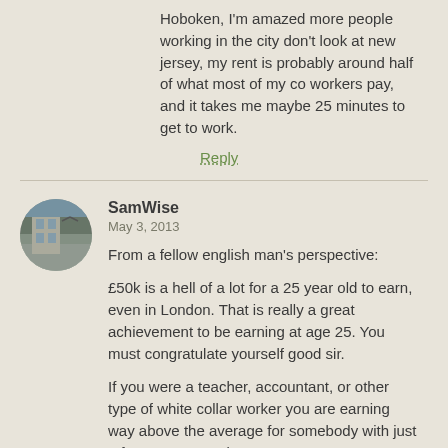Hoboken, I'm amazed more people working in the city don't look at new jersey, my rent is probably around half of what most of my co workers pay, and it takes me maybe 25 minutes to get to work.
Reply
SamWise
May 3, 2013
From a fellow english man's perspective:
£50k is a hell of a lot for a 25 year old to earn, even in London. That is really a great achievement to be earning at age 25. You must congratulate yourself good sir.
If you were a teacher, accountant, or other type of white collar worker you are earning way above the average for somebody with just a few years experience.
As a comparison, I am a 23 year old software writer, and earn £25000 per year with my day job, after 18 months experience. I live in Manchester (200 miles north of London) and can well live off £1000 per month, and that includes £530 on rent and bills, with the remaining £470 spent on badass meals, and regularly going to clubs and